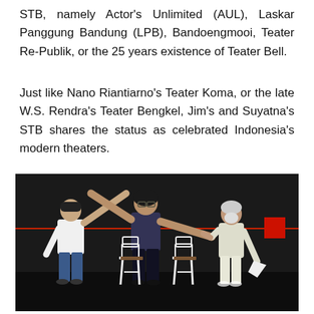STB, namely Actor's Unlimited (AUL), Laskar Panggung Bandung (LPB), Bandoengmooi, Teater Re-Publik, or the 25 years existence of Teater Bell.
Just like Nano Riantiarno's Teater Koma, or the late W.S. Rendra's Teater Bengkel, Jim's and Suyatna's STB shares the status as celebrated Indonesia's modern theaters.
[Figure (photo): Three people on a dark stage holding hands raised in a bow. Left person wears white t-shirt and jeans, center person wears dark t-shirt and dark pants, right person is an older man in a white shirt and light pants. Two white metal chairs visible on stage. A red flag partially visible at right edge. Red line across the dark background wall.]